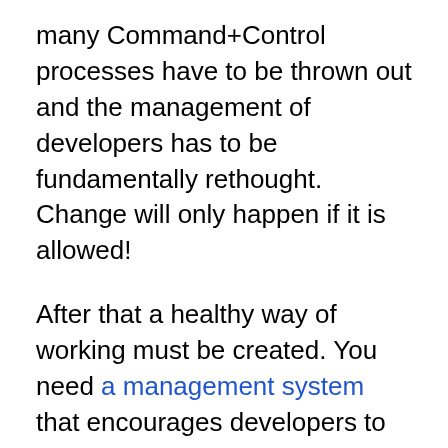many Command+Control processes have to be thrown out and the management of developers has to be fundamentally rethought. Change will only happen if it is allowed!
After that a healthy way of working must be created. You need a management system that encourages developers to take responsibility for their own actions, decisions, changes, failures and successes. This requires the creation of structures and processes that honestly value the individual contribution of each person – regardless of whether management is satisfied with the direction in which they are going or not. People will only make their contribution if you let